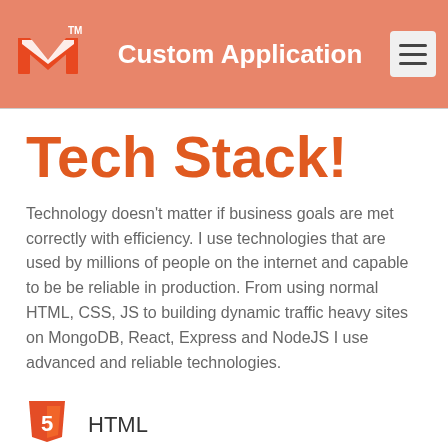Custom Application
Tech Stack!
Technology doesn't matter if business goals are met correctly with efficiency. I use technologies that are used by millions of people on the internet and capable to be be reliable in production. From using normal HTML, CSS, JS to building dynamic traffic heavy sites on MongoDB, React, Express and NodeJS I use advanced and reliable technologies.
HTML
CSS